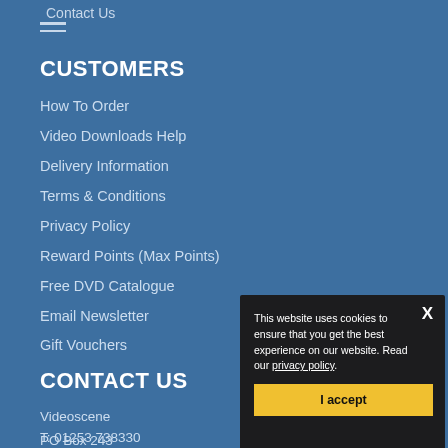Contact Us
CUSTOMERS
How To Order
Video Downloads Help
Delivery Information
Terms & Conditions
Privacy Policy
Reward Points (Max Points)
Free DVD Catalogue
Email Newsletter
Gift Vouchers
CONTACT US
Videoscene
PO Box 243
Lytham St.Annes
FY8 9DE
T: 01253 738330
[Figure (screenshot): Cookie consent popup with dark background showing text 'This website uses cookies to ensure that you get the best experience on our website. Read our privacy policy.' and a yellow 'I accept' button, with an X close button in the top right.]